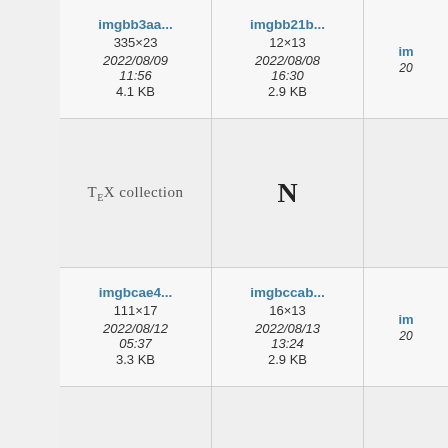[Figure (screenshot): File browser grid view showing image thumbnails and file metadata. Row 1: imgbb3aa... (335x23, 2022/08/09 11:56, 4.1 KB), imgbb21b... (12x13, 2022/08/08 16:30, 2.9 KB), partially visible third item. Row 2 (preview): TeX collection logo, bold N icon, partially visible. Row 3: imgbcae4... (111x17, 2022/08/12 05:37, 3.3 KB), imgbccab... (16x13, 2022/08/13 13:24, 2.9 KB), partially visible third. Row 4 (preview): LaTeX logo, black square, partially visible. Row 5: imgbcd8a..., imgbcf90..., partially visible third.]